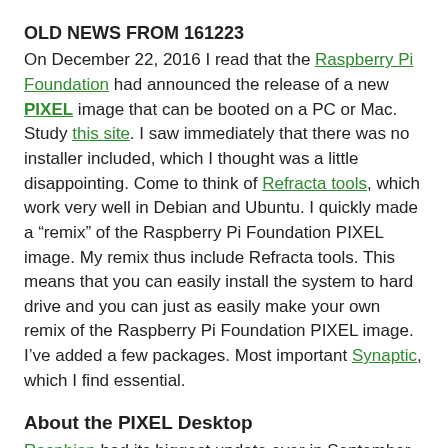OLD NEWS FROM 161223
On December 22, 2016 I read that the Raspberry Pi Foundation had announced the release of a new PIXEL image that can be booted on a PC or Mac. Study this site. I saw immediately that there was no installer included, which I thought was a little disappointing. Come to think of Refracta tools, which work very well in Debian and Ubuntu. I quickly made a “remix” of the Raspberry Pi Foundation PIXEL image. My remix thus include Refracta tools. This means that you can easily install the system to hard drive and you can just as easily make your own remix of the Raspberry Pi Foundation PIXEL image. I’ve added a few packages. Most important Synaptic, which I find essential.
About the PIXEL Desktop
Raspbian had its biggest update ever in September, 2016, thanks to a dazzling new desktop environment called PIXEL. Raspbian with PIXEL (which stands for “Pi Improved Xwindow